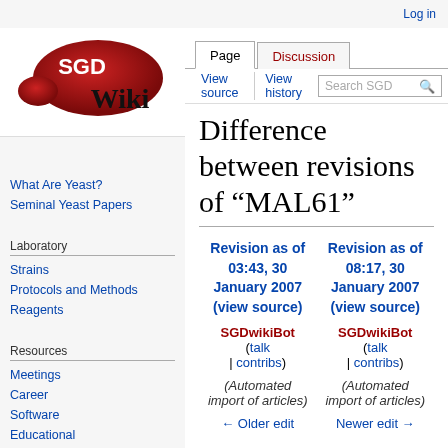Log in
[Figure (logo): SGD Wiki logo - red oval shape with SGD text and Wiki text below]
What Are Yeast?
Seminal Yeast Papers
Laboratory
Strains
Protocols and Methods
Reagents
Resources
Meetings
Career
Software
Educational
Difference between revisions of "MAL61"
| Revision as of 03:43, 30 January 2007 (view source) | Revision as of 08:17, 30 January 2007 (view source) |
| --- | --- |
| SGDwikiBot (talk | contribs) | SGDwikiBot (talk | contribs) |
| (Automated import of articles) | (Automated import of articles) |
| ← Older edit | Newer edit → |